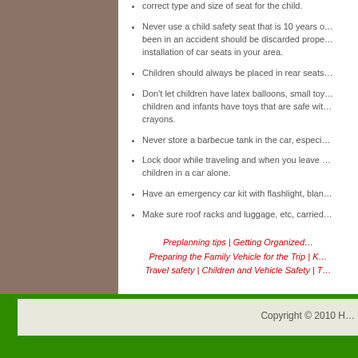correct type and size of seat for the child.
Never use a child safety seat that is 10 years old or more. A seat that has been in an accident should be discarded properly. Check for free checking of installation of car seats in your area.
Children should always be placed in rear seats.
Don't let children have latex balloons, small toys, or hard candy. Make sure children and infants have toys that are safe with no small parts, such as soft crayons.
Never store a barbecue tank in the car, especially when it is in the sun.
Lock door while traveling and when you leave the car. Never leave young children in a car alone.
Have an emergency car kit with flashlight, blanket, and first aid kit.
Make sure roof racks and luggage, etc, carried on your car are secured.
Preplanning tips | Getting Organized | Preparing the Family Vehicle for the Trip | K... Travel safety | Children and Vehicle Safety | T...
Copyright © 2010 H...